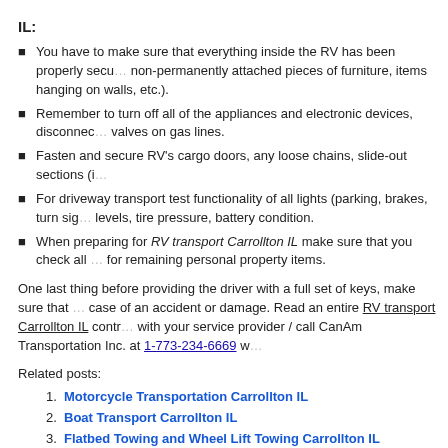IL:
You have to make sure that everything inside the RV has been properly secured (non-permanently attached pieces of furniture, items hanging on walls, etc.).
Remember to turn off all of the appliances and electronic devices, disconnect valves on gas lines.
Fasten and secure RV's cargo doors, any loose chains, slide-out sections (if…
For driveway transport test functionality of all lights (parking, brakes, turn signals…), levels, tire pressure, battery condition.
When preparing for RV transport Carrollton IL make sure that you check all … for remaining personal property items.
One last thing before providing the driver with a full set of keys, make sure that … case of an accident or damage. Read an entire RV transport Carrollton IL contract with your service provider / call CanAm Transportation Inc. at 1-773-234-6669 w…
Related posts:
Motorcycle Transportation Carrollton IL
Boat Transport Carrollton IL
Flatbed Towing and Wheel Lift Towing Carrollton IL
Heavy Equipment Moving Carrollton IL | Heavy Hauling Illinois
Towing in Carrollton IL | Emergency Vehicle Towing Services